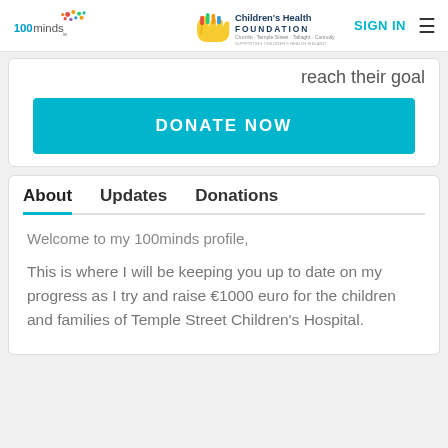100minds | Children's Health Foundation | SIGN IN
reach their goal
DONATE NOW
About   Updates   Donations
Welcome to my 100minds profile,
This is where I will be keeping you up to date on my progress as I try and raise €1000 euro for the children and families of Temple Street Children's Hospital.